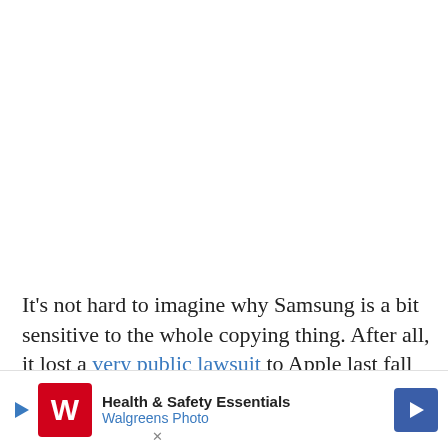It's not hard to imagine why Samsung is a bit sensitive to the whole copying thing. After all, it lost a very public lawsuit to Apple last fall that essentially found it guilty of being just that—a copy...
Of co... rthor
[Figure (other): Walgreens advertisement banner with red W logo, text 'Health & Safety Essentials' and 'Walgreens Photo', a blue play button, a blue diamond-shaped navigation arrow icon, and an X close button.]